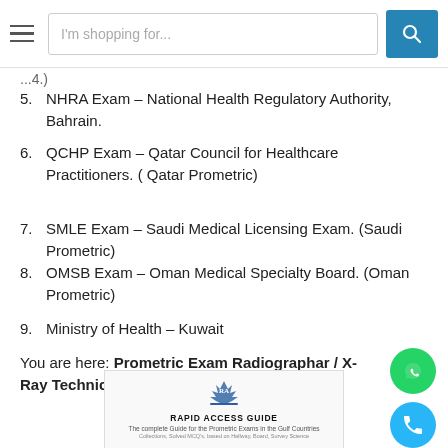[Figure (screenshot): Mobile website navigation bar with hamburger menu, search box reading 'I'm shopping for...', and teal search button]
...4.)
5. NHRA Exam – National Health Regulatory Authority, Bahrain.
6. QCHP Exam – Qatar Council for Healthcare Practitioners. ( Qatar Prometric)
7. SMLE Exam – Saudi Medical Licensing Exam. (Saudi Prometric)
8. OMSB Exam – Oman Medical Specialty Board. (Oman Prometric)
9. Ministry of Health – Kuwait
You are here: Prometric Exam Radiographar / X-Ray Technician Book MCQ's
[Figure (photo): Book cover: Rapid Access Guide - The complete Guide for the Prometric Exams in the Gulf Countries]